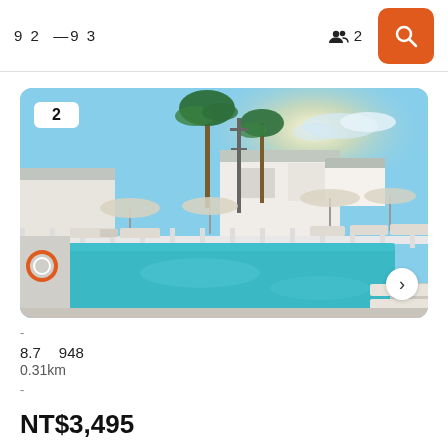9 2 —9 3   👥 2
[Figure (photo): Outdoor swimming pool area with lounge chairs, white fences, palm trees, and white buildings under a bright blue sky. Image has a white badge with number 2 in upper left and a next arrow button at lower right.]
-
8.7   948
0.31km
-
NT$3,495